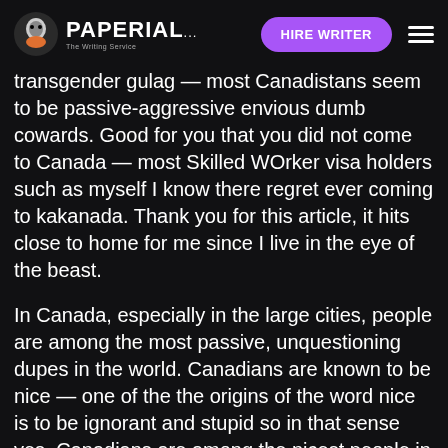PAPERIAL... | HIRE WRITER
transgender gulag — most Canadistans seem to be passive-aggressive envious dumb cowards. Good for you that you did not come to Canada — most Skilled WOrker visa holders such as myself I know there regret ever coming to kakanada. Thank you for this article, it hits close to home for me since I live in the eye of the beast.
In Canada, especially in the large cities, people are among the most passive, unquestioning dupes in the world. Canadians are known to be nice — one of the the origins of the word nice is to be ignorant and stupid so in that sense yes, Canadians are among the nicest people in the world. At least in some places people are fighting back but not here, at least not in significant enough numbers.
The propaganda is relentless, the cognitive dissonance for those who suspect something is up is ever present and growing. Only once they